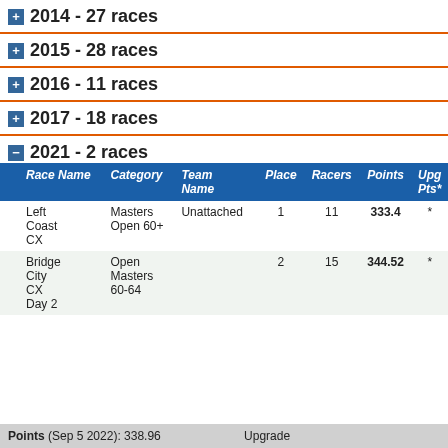+ 2014 - 27 races
+ 2015 - 28 races
+ 2016 - 11 races
+ 2017 - 18 races
- 2021 - 2 races
|  | Race Name | Category | Team Name | Place | Racers | Points | Upg Pts* |
| --- | --- | --- | --- | --- | --- | --- | --- |
| Left Coast CX | Masters Open 60+ | Unattached | 1 | 11 | 333.4 | * |  |
| Bridge City CX Day 2 | Open Masters 60-64 |  | 2 | 15 | 344.52 | * |  |
Points (Sep 5 2022): 338.96   Upgrade